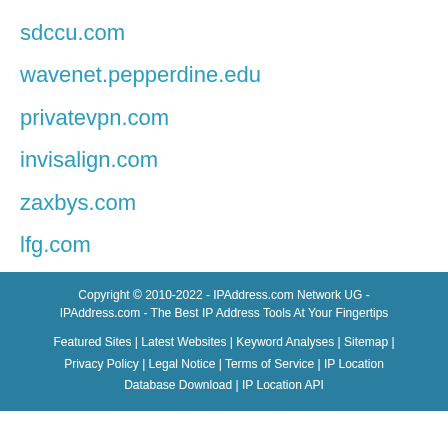sdccu.com
wavenet.pepperdine.edu
privatevpn.com
invisalign.com
zaxbys.com
lfg.com
Copyright © 2010-2022 - IPAddress.com Network UG - IPAddress.com - The Best IP Address Tools At Your Fingertips
Featured Sites | Latest Websites | Keyword Analyses | Sitemap | Privacy Policy | Legal Notice | Terms of Service | IP Location Database Download | IP Location API